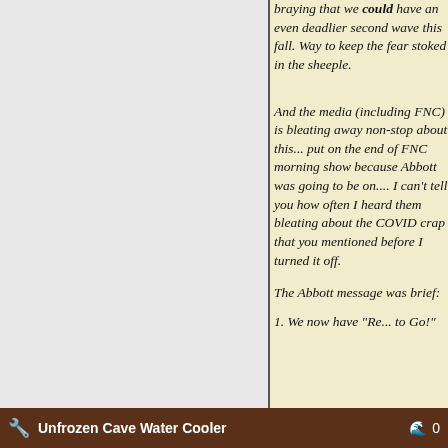braying that we could have an even deadlier second wave this fall. Way to keep the fear stoked in the sheeple.
And the media (including FNC) is bleating away non-stop about this... put on the end of FNC morning show because Abbott was going to be on.... I can't tell you how often I heard them bleating about the COVID crap that you mentioned before I turned it off.
The Abbott message was brief:
1. We now have "Re... to Go!"
Unfrozen Cave Water Cooler  0